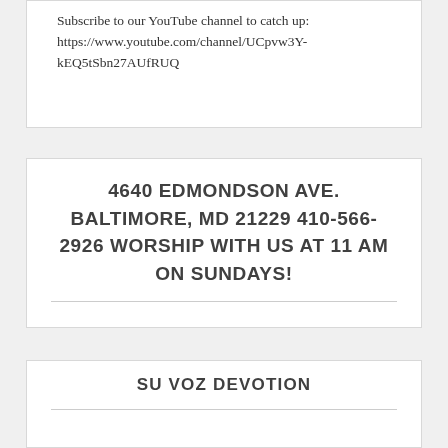Subscribe to our YouTube channel to catch up: https://www.youtube.com/channel/UCpvw3Y-kEQ5tSbn27AUfRUQ
4640 EDMONDSON AVE. BALTIMORE, MD 21229 410-566-2926 WORSHIP WITH US AT 11 AM ON SUNDAYS!
SU VOZ DEVOTION